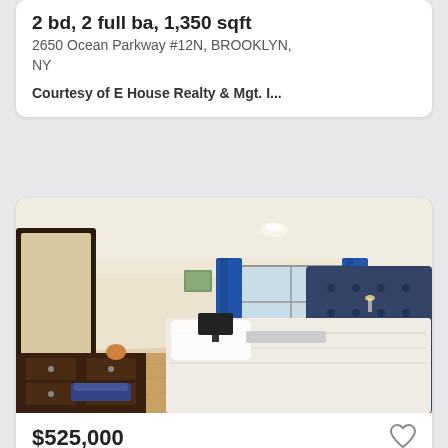2 bd, 2 full ba, 1,350 sqft
2650 Ocean Parkway #12N, BROOKLYN, NY
Courtesy of E House Realty & Mgt. I...
[Figure (photo): Interior photo of a bedroom with a large bed with white linens, blue tufted headboard, wood dresser with mirror, large window with blue curtains, TV, and wood flooring.]
$525,000
2 bd, 1 full ba, 1,000 sqft
35 SEACOAST #2K, Brooklyn, NY
Courtesy of Diamond Real Inc